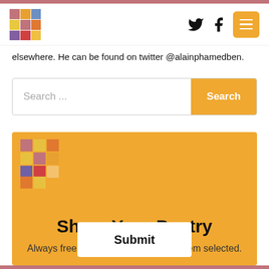Logo and navigation with Twitter, Facebook icons and menu button
elsewhere. He can be found on twitter @alainphamedben.
Search ...
[Figure (logo): Colorful pixel-grid logo icon on yellow background for Share Your Poetry section]
Share Your Poetry
Always free. Always open. $50 per poem selected.
Submit